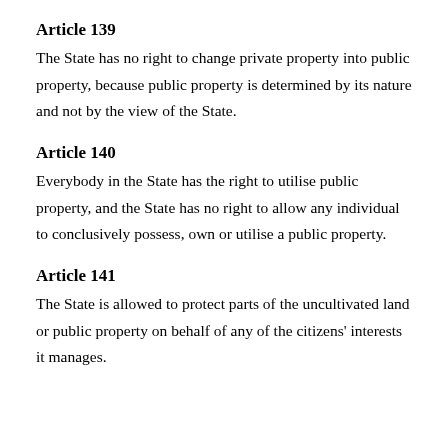Article 139
The State has no right to change private property into public property, because public property is determined by its nature and not by the view of the State.
Article 140
Everybody in the State has the right to utilise public property, and the State has no right to allow any individual to conclusively possess, own or utilise a public property.
Article 141
The State is allowed to protect parts of the uncultivated land or public property on behalf of any of the citizens' interests it manages.